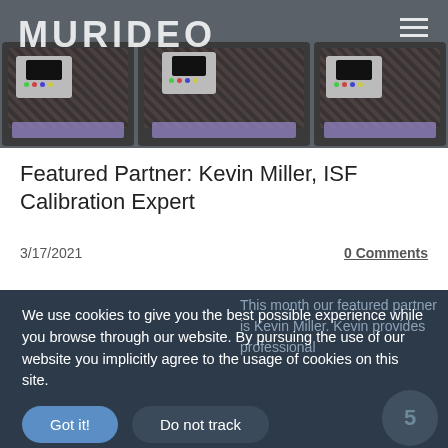MURIDEO
[Figure (photo): Three black Murideo calibration device cases open showing the handheld calibration devices inside with foam padding]
Featured Partner: Kevin Miller, ISF Calibration Expert
3/17/2021
0 Comments
This month our featured partner is Kevin Miller. Kevin provides professional
We use cookies to give you the best possible experience while you browse through our website. By pursuing the use of our website you implicitly agree to the usage of cookies on this site.